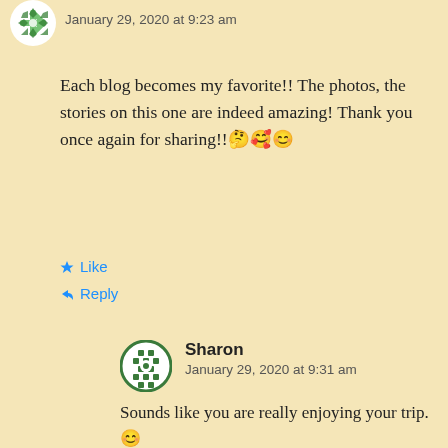January 29, 2020 at 9:23 am
Each blog becomes my favorite!! The photos, the stories on this one are indeed amazing! Thank you once again for sharing!!🤔🥰😊
Like
Reply
Sharon
January 29, 2020 at 9:31 am
Sounds like you are really enjoying your trip. 😊